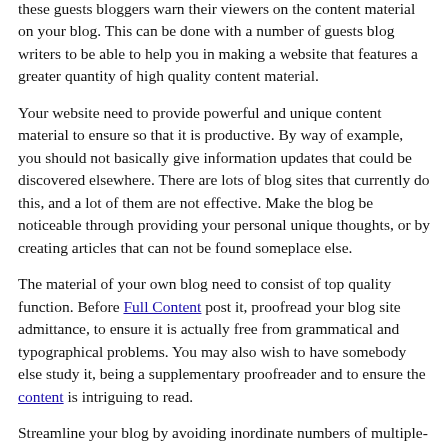these guests bloggers warn their viewers on the content material on your blog. This can be done with a number of guests blog writers to be able to help you in making a website that features a greater quantity of high quality content material.
Your website need to provide powerful and unique content material to ensure so that it is productive. By way of example, you should not basically give information updates that could be discovered elsewhere. There are lots of blog sites that currently do this, and a lot of them are not effective. Make the blog be noticeable through providing your personal unique thoughts, or by creating articles that can not be found someplace else.
The material of your own blog need to consist of top quality function. Before Full Content post it, proofread your blog site admittance, to ensure it is actually free from grammatical and typographical problems. You may also wish to have somebody else study it, being a supplementary proofreader and to ensure the content is intriguing to read.
Streamline your blog by avoiding inordinate numbers of multiple-press. Whilst pictures and the the occasional movie are really a fantastic effect, your phrases will be more important than your skill to put obnoxious GIFs or photos on your own blog posts. Readers will enjoy [highlighted] pleasure